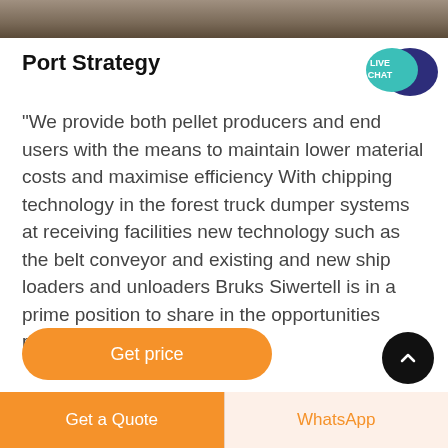[Figure (photo): Partial photograph strip at top of page, showing a dark earthy/rocky scene]
Port Strategy
[Figure (illustration): Live Chat speech bubble icon in teal and dark blue]
"We provide both pellet producers and end users with the means to maintain lower material costs and maximise efficiency With chipping technology in the forest truck dumper systems at receiving facilities new technology such as the belt conveyor and existing and new ship loaders and unloaders Bruks Siwertell is in a prime position to share in the opportunities presented by this growing
Get price
Get a Quote
WhatsApp